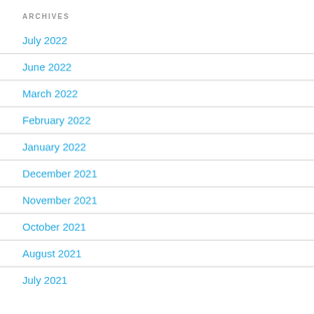ARCHIVES
July 2022
June 2022
March 2022
February 2022
January 2022
December 2021
November 2021
October 2021
August 2021
July 2021